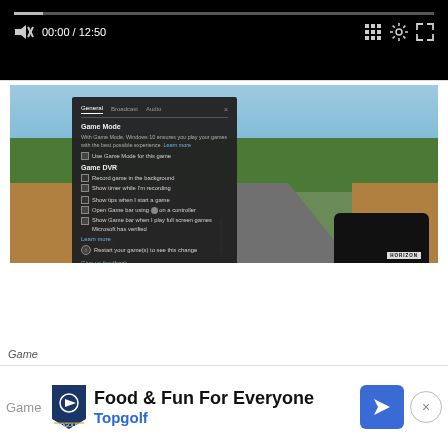[Figure (screenshot): Video player controls bar showing muted speaker icon, time 00:00 / 12:50, grid icon, settings gear icon, and expand icon on black background]
[Figure (screenshot): Windows 10 Game Bar settings panel overlaid on Forza Horizon game screenshot showing a black sports car on a road. Settings panel shows General, Broadcast, Audio tabs with Game Mode and Game DVR settings including checkboxes for Use Game Mode, Record game in the background, Show timer while I'm recording, Show tips when I start a game, Open Game bar using button on a controller, Show Game bar when I play full screen games Microsoft has verified. Also shows Give us feedback and Edit more preferences in Windows Settings links.]
[Figure (screenshot): Advertisement banner for Topgolf showing 'Food & Fun For Everyone' text with Topgolf logo and blue navigation arrow icon, with close X button]